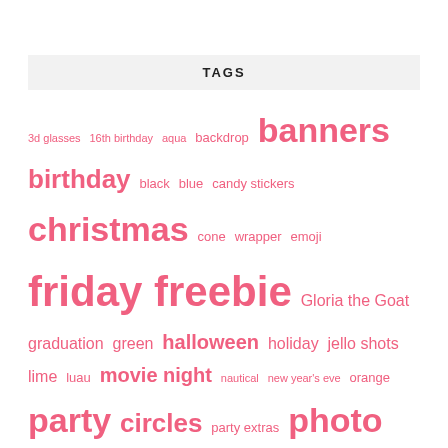TAGS
3d glasses 16th birthday aqua backdrop banners birthday black blue candy stickers christmas cone wrapper emoji friday freebie Gloria the Goat graduation green halloween holiday jello shots lime luau movie night nautical new year's eve orange party circles party extras photo booth sign pink pinwheel printable purple red rose gold snack box Snapshot straw flag svg taco turquoise turquoise glitter valentine victorian lilac wedding yellow